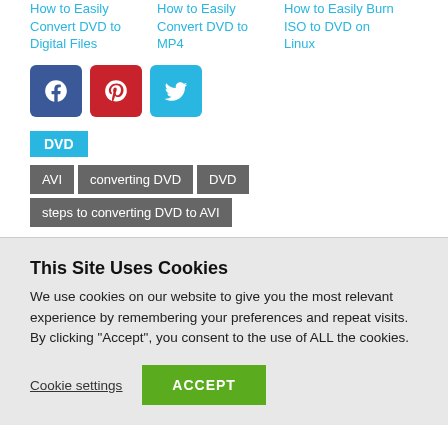How to Easily Convert DVD to Digital Files
How to Easily Convert DVD to MP4
How to Easily Burn ISO to DVD on Linux
[Figure (infographic): Social share buttons: Facebook (blue), Pinterest (red), Twitter (light blue)]
DVD
AVI | converting DVD | DVD | steps to converting DVD to AVI
This Site Uses Cookies
We use cookies on our website to give you the most relevant experience by remembering your preferences and repeat visits. By clicking “Accept”, you consent to the use of ALL the cookies.
Cookie settings  ACCEPT